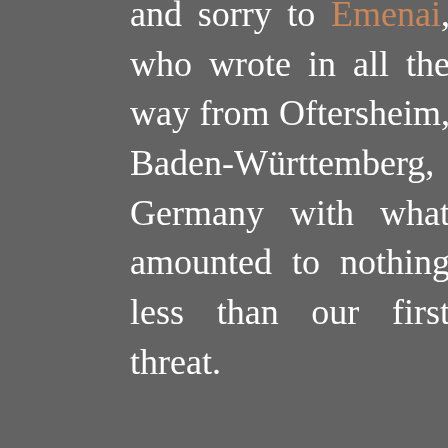and sorry to Emenai, who wrote in all the way from Oftersheim, Baden-Württemberg, Germany with what amounted to nothing less than our first threat.

Please accept my